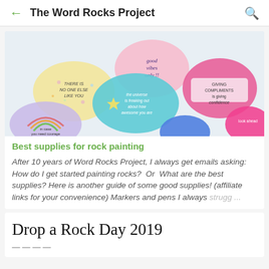← The Word Rocks Project 🔍
[Figure (photo): Photo of several painted rocks with positive messages: 'good vibes only', 'there is no one else like you', 'giving compliments is giving confidence', 'in case you need courage', 'the universe is freaking out about how awesome you are', 'look ahead']
Best supplies for rock painting
After 10 years of Word Rocks Project, I always get emails asking: How do I get started painting rocks?  Or  What are the best supplies? Here is another guide of some good supplies! (affiliate links for your convenience) Markers and pens I always strugg ...
Drop a Rock Day 2019